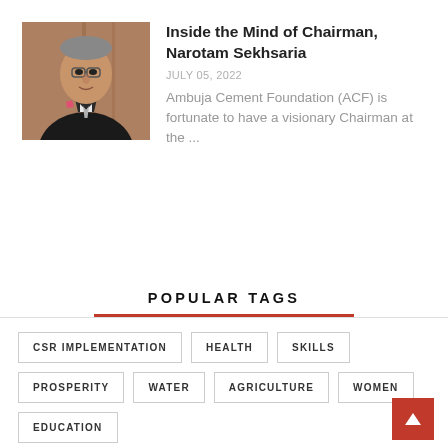[Figure (photo): Portrait photo of Chairman Narotam Sekhsaria in a dark suit with a pink pocket square, against a wooden background.]
Inside the Mind of Chairman, Narotam Sekhsaria
JULY 05, 2022
Ambuja Cement Foundation (ACF) is fortunate to have a visionary Chairman at the ...
POPULAR TAGS
CSR IMPLEMENTATION
HEALTH
SKILLS
PROSPERITY
WATER
AGRICULTURE
WOMEN
EDUCATION